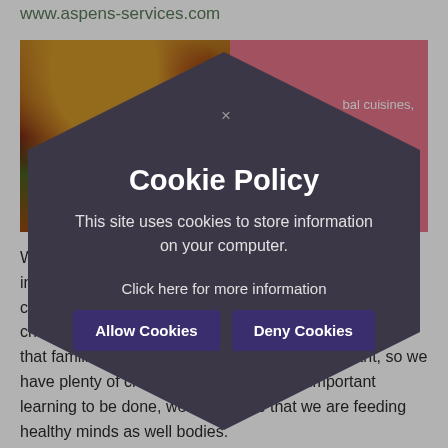www.aspens-services.com
[Figure (photo): Food image showing a burger on the left side and pink/red background on the right with partial text 'bal cuisines, nd']
We push boundaries and are always interested in introducing new cuisines to the world. The food world is constantly expanding and students are keen for the chance of new food experiences. We also don't forget that familiarity and comfort are what so many want, so we have plenty of choices to fit the bill. With important learning to be done, we make sure that we are feeding healthy minds as well bodies.
[Figure (screenshot): Cookie policy modal overlay in dark hexagonal/rounded shape with close X button, title 'Cookie Policy', description text, link and two buttons]
Cookie Policy
This site uses cookies to store information on your computer.
Click here for more information
Allow Cookies
Deny Cookies